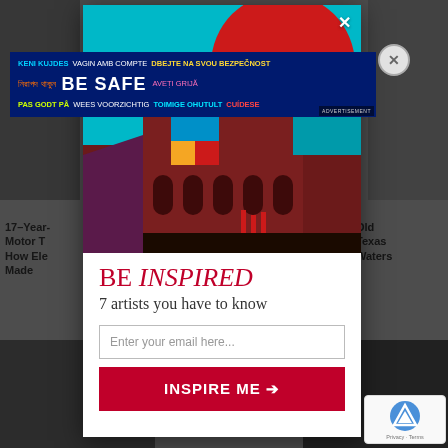[Figure (screenshot): Background webpage with article thumbnails — left side shows a person, right side shows outdoor/water scene. Bottom shows two more article thumbnails.]
[Figure (infographic): Safety awareness advertisement banner with multilingual 'BE SAFE' text in various languages including Bengali, French, Dutch, Estonian, Spanish, and others on dark blue background]
17-Year-... Old Motor T... Texas How Ele... Waters Made
[Figure (illustration): Popup modal art: geometric illustration with teal/cyan background, large red circle (sun), dark brown/maroon building with arches, small colorful square window, red drips]
BE INSPIRED
7 artists you have to know
Enter your email here...
INSPIRE ME →
[Figure (logo): Google reCAPTCHA badge with logo, Privacy and Terms links]